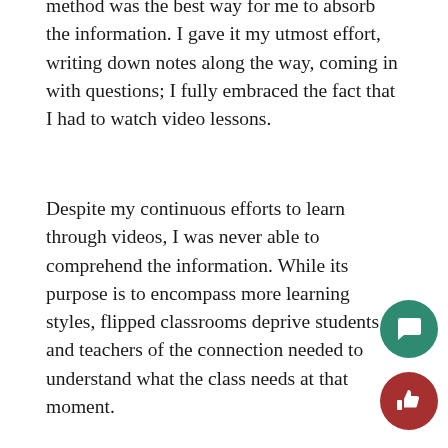method was the best way for me to absorb the information. I gave it my utmost effort, writing down notes along the way, coming in with questions; I fully embraced the fact that I had to watch video lessons.
Despite my continuous efforts to learn through videos, I was never able to comprehend the information. While its purpose is to encompass more learning styles, flipped classrooms deprive students and teachers of the connection needed to understand what the class needs at that moment.
This year, in AP Calculus AB, I learned the lessons live from a teacher for the first time since algebra one. Rediscovering the traditional classroom format, empathized the difference between learning the less live in class and learning off a video.
In just one lesson, there may be many times where my Calculus class needs to go back and relearn, or have a